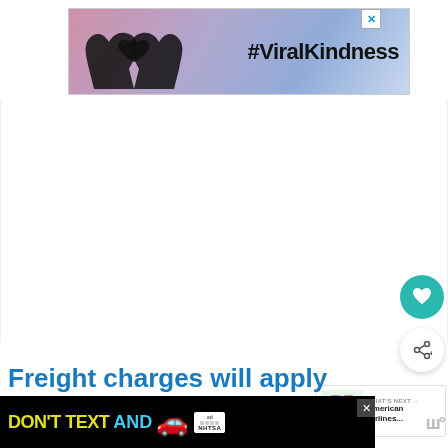[Figure (screenshot): Top banner advertisement with hands forming a heart shape silhouette against a colorful sunset sky background, with text '#ViralKindness' on the right side, and a close (X) button in the top right corner.]
[Figure (screenshot): White blank content area (article body, mostly empty/loading).]
[Figure (infographic): Teal circular button with a white heart icon (favorite/like button).]
[Figure (infographic): White circular button with a share icon and plus symbol (share button).]
[Figure (screenshot): What's Next card showing a thumbnail of luggage and text 'WHAT'S NEXT → American Airlines...']
Freight charges will apply
[Figure (screenshot): Bottom banner advertisement on black background reading 'DON'T TEXT AND' with a red car emoji, NHTSA ad logo, and a close (X) button.]